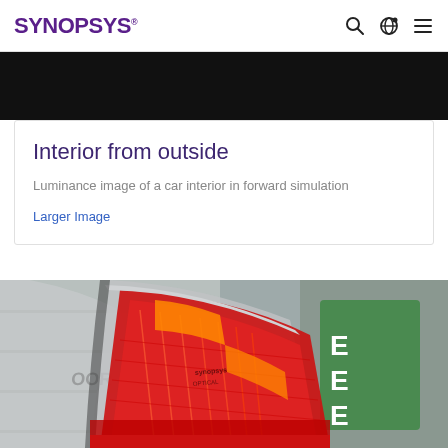SYNOPSYS®
[Figure (photo): Black banner image strip at top of content area]
Interior from outside
Luminance image of a car interior in forward simulation
Larger Image
[Figure (photo): Close-up photograph of a red car tail light with orange reflections, viewed from outside; background shows industrial containers with a green E-label sign]